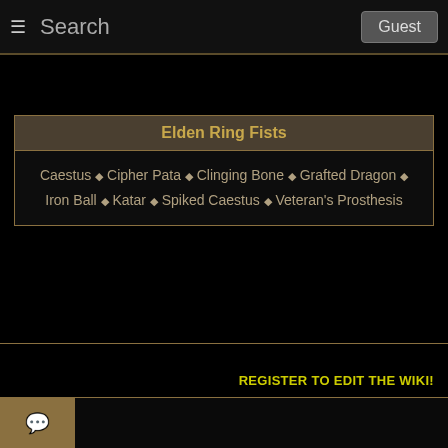Search   Guest
Elden Ring Fists
Caestus ♦ Cipher Pata ♦ Clinging Bone ♦ Grafted Dragon ♦ Iron Ball ♦ Katar ♦ Spiked Caestus ♦ Veteran's Prosthesis
REGISTER TO EDIT THE WIKI!